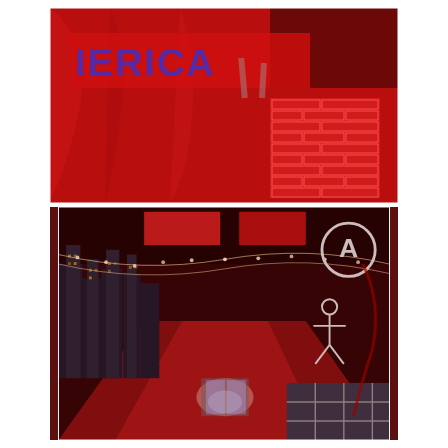[Figure (photo): Top photo: A room decorated in red with a large red banner reading 'IERICA' or similar, with a brick-patterned red box/structure on the right side, all bathed in red lighting.]
[Figure (photo): Bottom photo: A hallway decorated with a city skyline mural on the left wall (dark buildings with windows), red lighting from ceiling panels, string lights running along the ceiling, and graffiti-style artwork on the right side including an anarchy symbol circle. The hallway extends to glowing doors at the end.]